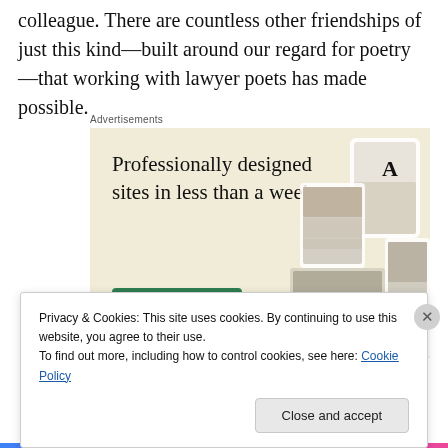colleague. There are countless other friendships of just this kind—built around our regard for poetry—that working with lawyer poets has made possible.
[Figure (screenshot): Advertisement for Squarespace showing 'Professionally designed sites in less than a week' with an 'Explore options' button and website mockup screenshots on a beige background.]
Privacy & Cookies: This site uses cookies. By continuing to use this website, you agree to their use.
To find out more, including how to control cookies, see here: Cookie Policy
Close and accept